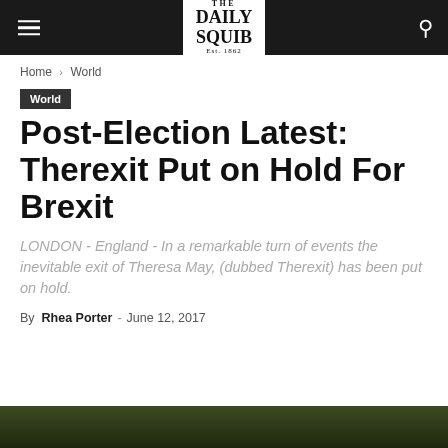THE DAILY SQUIB Est. 1862
Home › World
World
Post-Election Latest: Therexit Put on Hold For Brexit
LONDON - England - In a remarkable turn of events the inevitable exit of Theresa May, (dubbed Therexit) has been put on hold.
By Rhea Porter - June 12, 2017
[Figure (photo): Dark olive/green image strip at the bottom of the page]